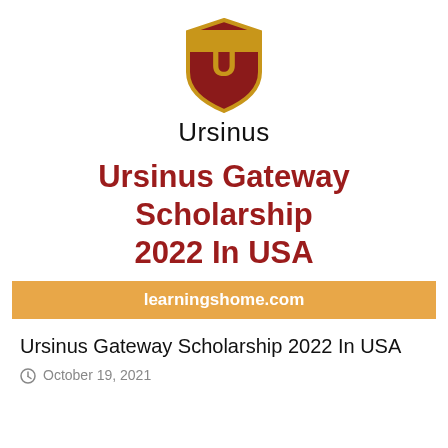[Figure (logo): Ursinus College shield logo with a gold 'U' on a dark red background, with the word 'Ursinus' below in black serif-style text]
Ursinus Gateway Scholarship 2022 In USA
learningshome.com
Ursinus Gateway Scholarship 2022 In USA
October 19, 2021